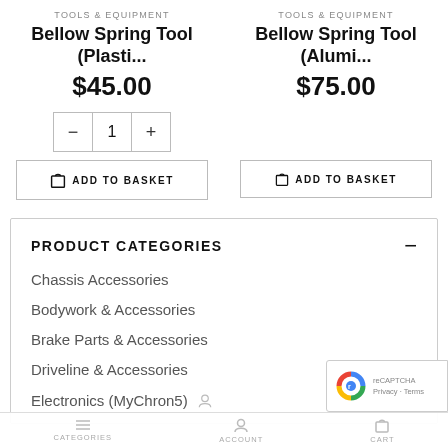TOOLS & EQUIPMENT
Bellow Spring Tool (Plasti...
$45.00
ADD TO BASKET
TOOLS & EQUIPMENT
Bellow Spring Tool (Alumi...
$75.00
ADD TO BASKET
PRODUCT CATEGORIES
Chassis Accessories
Bodywork & Accessories
Brake Parts & Accessories
Driveline & Accessories
Electronics (MyChron5)
CATEGORIES   ACCOUNT   CART